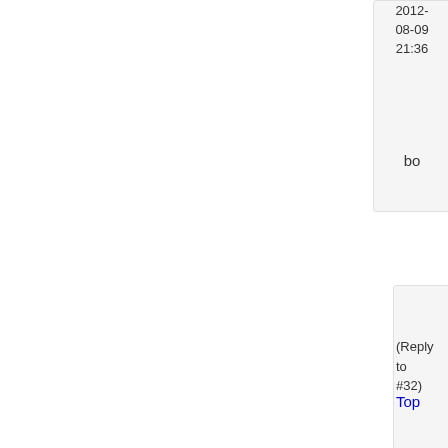2012-08-09 21:36
bo
(Reply to #32)
#3
Top